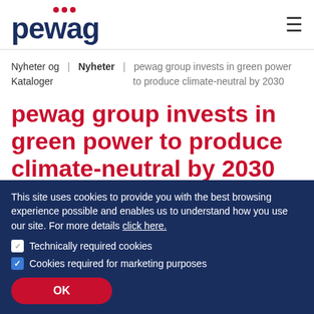pewag
Nyheter og | Nyheter | pewag group invests in green power to produce climate-neutral by 2030
Kataloger
pewag group invests in green power to produce climate-neutral by 2030
02/11/2021
This site uses cookies to provide you with the best browsing experience possible and enables us to understand how you use our site. For more details click here.
Technically required cookies
Cookies required for marketing purposes
OK